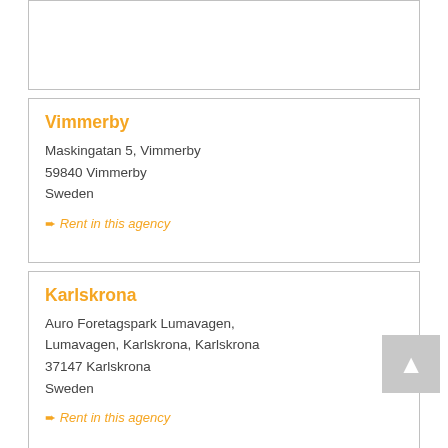Vimmerby
Maskingatan 5, Vimmerby
59840 Vimmerby
Sweden
➨ Rent in this agency
Karlskrona
Auro Foretagspark Lumavagen, Lumavagen, Karlskrona, Karlskrona
37147 Karlskrona
Sweden
➨ Rent in this agency
Ronneby Airport
Airport Service Location, Ronneby
Ronneby
Sweden